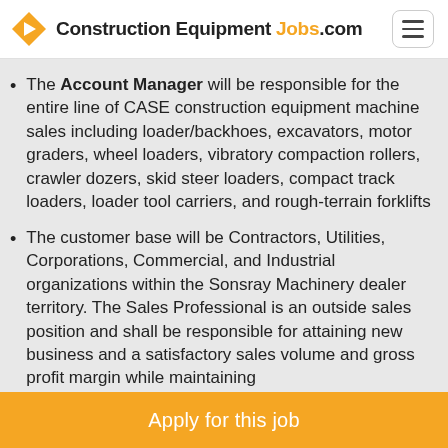Construction Equipment Jobs.com
The Account Manager will be responsible for the entire line of CASE construction equipment machine sales including loader/backhoes, excavators, motor graders, wheel loaders, vibratory compaction rollers, crawler dozers, skid steer loaders, compact track loaders, loader tool carriers, and rough-terrain forklifts
The customer base will be Contractors, Utilities, Corporations, Commercial, and Industrial organizations within the Sonsray Machinery dealer territory. The Sales Professional is an outside sales position and shall be responsible for attaining new business and a satisfactory sales volume and gross profit margin while maintaining
Apply for this job